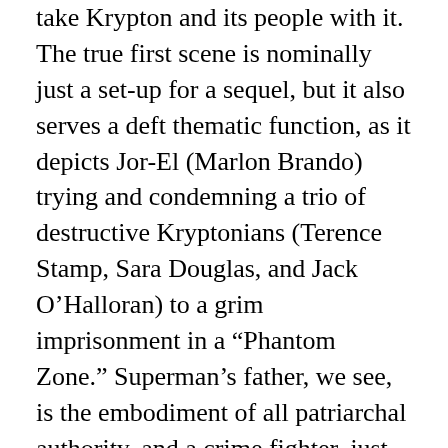take Krypton and its people with it. The true first scene is nominally just a set-up for a sequel, but it also serves a deft thematic function, as it depicts Jor-El (Marlon Brando) trying and condemning a trio of destructive Kryptonians (Terence Stamp, Sara Douglas, and Jack O’Halloran) to a grim imprisonment in a “Phantom Zone.” Superman’s father, we see, is the embodiment of all patriarchal authority, and a crime fighter, just as his son will be. Brando was paid a ludicrously large sum of money for his few minutes of screen time, but if anyone was worth it, he was, because he fills the part with a gravitas very few actors could have wielded.